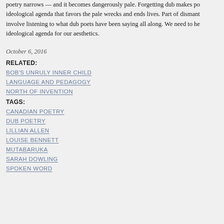poetry narrows — and it becomes dangerously pale. Forgetting dub makes poetry pale. ideological agenda that favors the pale wrecks and ends lives. Part of dismantling involve listening to what dub poets have been saying all along. We need to hear ideological agenda for our aesthetics.
October 6, 2016
RELATED:
BOB'S UNRULY INNER CHILD
LANGUAGE AND PEDAGOGY
NORTH OF INVENTION
TAGS:
CANADIAN POETRY
DUB POETRY
LILLIAN ALLEN
LOUISE BENNETT
MUTABARUKA
SARAH DOWLING
SPOKEN WORD